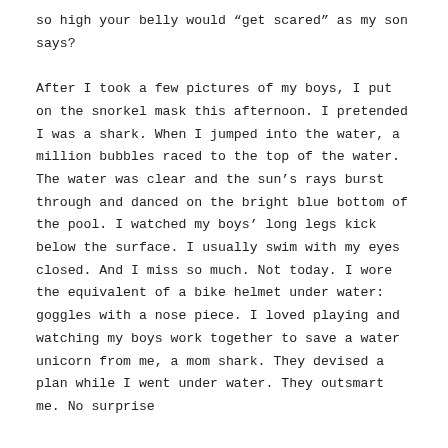so high your belly would "get scared" as my son says?

After I took a few pictures of my boys, I put on the snorkel mask this afternoon. I pretended I was a shark. When I jumped into the water, a million bubbles raced to the top of the water. The water was clear and the sun's rays burst through and danced on the bright blue bottom of the pool. I watched my boys' long legs kick below the surface. I usually swim with my eyes closed. And I miss so much. Not today. I wore the equivalent of a bike helmet under water: goggles with a nose piece. I loved playing and watching my boys work together to save a water unicorn from me, a mom shark. They devised a plan while I went under water. They outsmart me. No surprise